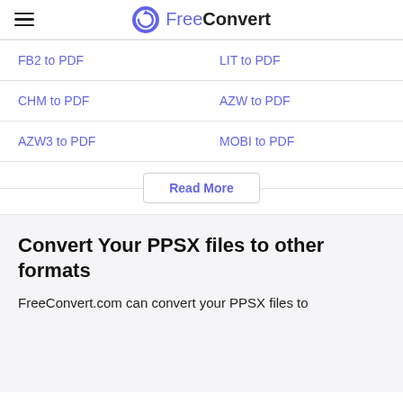FreeConvert
FB2 to PDF
LIT to PDF
CHM to PDF
AZW to PDF
AZW3 to PDF
MOBI to PDF
Read More
Convert Your PPSX files to other formats
FreeConvert.com can convert your PPSX files to